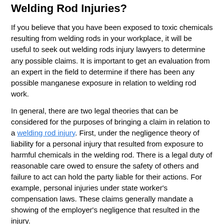Welding Rod Injuries?
If you believe that you have been exposed to toxic chemicals resulting from welding rods in your workplace, it will be useful to seek out welding rods injury lawyers to determine any possible claims. It is important to get an evaluation from an expert in the field to determine if there has been any possible manganese exposure in relation to welding rod work.
In general, there are two legal theories that can be considered for the purposes of bringing a claim in relation to a welding rod injury. First, under the negligence theory of liability for a personal injury that resulted from exposure to harmful chemicals in the welding rod. There is a legal duty of reasonable care owed to ensure the safety of others and failure to act can hold the party liable for their actions. For example, personal injuries under state worker's compensation laws. These claims generally mandate a showing of the employer's negligence that resulted in the injury.